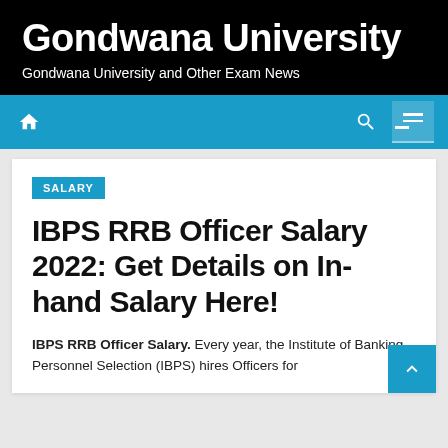Gondwana University
Gondwana University and Other Exam News
SALARY
IBPS RRB Officer Salary 2022: Get Details on In-hand Salary Here!
IBPS RRB Officer Salary. Every year, the Institute of Banking Personnel Selection (IBPS) hires Officers for